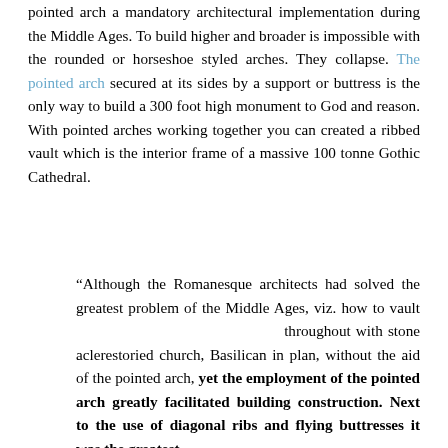pointed arch a mandatory architectural implementation during the Middle Ages. To build higher and broader is impossible with the rounded or horseshoe styled arches. They collapse. The pointed arch secured at its sides by a support or buttress is the only way to build a 300 foot high monument to God and reason. With pointed arches working together you can created a ribbed vault which is the interior frame of a massive 100 tonne Gothic Cathedral.
“Although the Romanesque architects had solved the greatest problem of the Middle Ages, viz. how to vault throughout with stone aclerestoried church, Basilican in plan, without the aid of the pointed arch, yet the employment of the pointed arch greatly facilitated building construction. Next to the use of diagonal ribs and flying buttresses it was the greatest